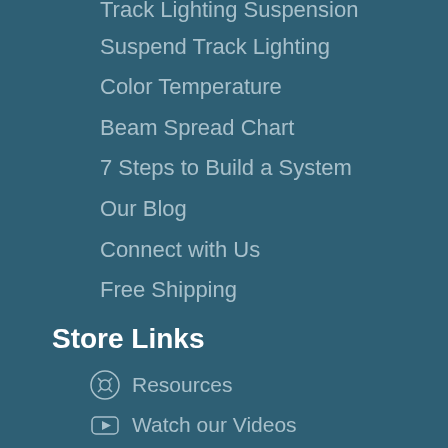Track Lighting Suspension
Suspend Track Lighting
Color Temperature
Beam Spread Chart
7 Steps to Build a System
Our Blog
Connect with Us
Free Shipping
Store Links
Resources
Watch our Videos
Contact Us
About Us
Testimonials - see what our customers are